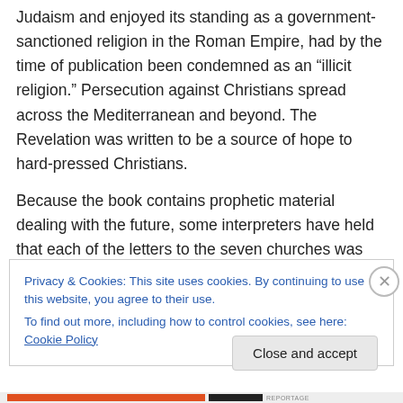Judaism and enjoyed its standing as a government-sanctioned religion in the Roman Empire, had by the time of publication been condemned as an “illicit religion.” Persecution against Christians spread across the Mediterranean and beyond. The Revelation was written to be a source of hope to hard-pressed Christians.
Because the book contains prophetic material dealing with the future, some interpreters have held that each of the letters to the seven churches was intended for an audience from a different period of church history.
Privacy & Cookies: This site uses cookies. By continuing to use this website, you agree to their use.
To find out more, including how to control cookies, see here: Cookie Policy